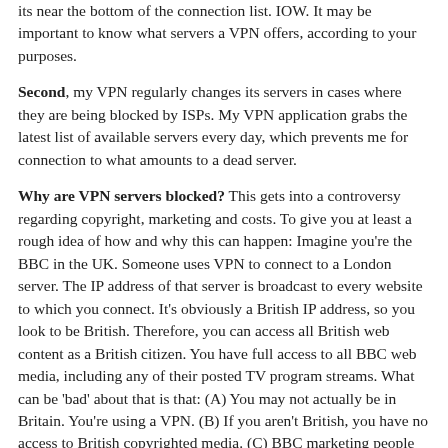its near the bottom of the connection list. IOW. It may be important to know what servers a VPN offers, according to your purposes.
Second, my VPN regularly changes its servers in cases where they are being blocked by ISPs. My VPN application grabs the latest list of available servers every day, which prevents me for connection to what amounts to a dead server.
Why are VPN servers blocked? This gets into a controversy regarding copyright, marketing and costs. To give you at least a rough idea of how and why this can happen: Imagine you're the BBC in the UK. Someone uses VPN to connect to a London server. The IP address of that server is broadcast to every website to which you connect. It's obviously a British IP address, so you look to be British. Therefore, you can access all British web content as a British citizen. You have full access to all BBC web media, including any of their posted TV program streams. What can be 'bad' about that is that: (A) You may not actually be in Britain. You're using a VPN. (B) If you aren't British, you have no access to British copyrighted media. (C) BBC marketing people may go maniacal that you're breaking through an artificial marketing zone barrier to access media directly in the UK. (D) You haven't paid the